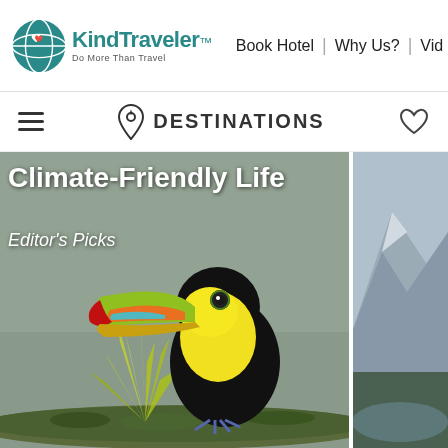[Figure (logo): KindTraveler logo with teal globe icon and tagline 'Do More Than Travel']
Book Hotel  |  Why Us?  |  Vid
[Figure (other): Navigation bar with hamburger menu, location pin icon with DESTINATIONS label, and heart icon]
Climate-Friendly Life
Editor's Picks
[Figure (photo): Close-up of a keel-billed toucan perched on a mossy branch with tropical plant, colorful beak in yellow-green-red-orange, black and yellow body, against grey background]
[Figure (photo): Right strip: partial view of mountain landscape with forest and water reflection]